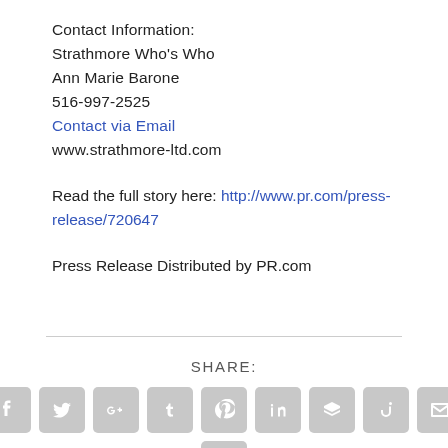Contact Information:
Strathmore Who's Who
Ann Marie Barone
516-997-2525
Contact via Email
www.strathmore-ltd.com
Read the full story here: http://www.pr.com/press-release/720647
Press Release Distributed by PR.com
SHARE:
[Figure (other): Row of social media share icon buttons: Facebook, Twitter, Google+, Tumblr, Pinterest, LinkedIn, Buffer, StumbleUpon, Email, and a print icon below.]